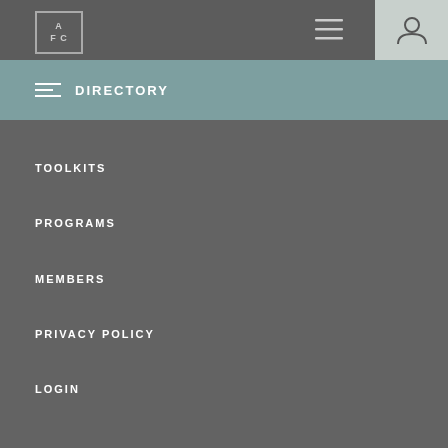[Figure (logo): AFC logo box with letters A, F, C inside a bordered square]
[Figure (illustration): Hamburger menu icon (three horizontal lines)]
[Figure (illustration): User/account icon (person silhouette)]
DIRECTORY
TOOLKITS
PROGRAMS
MEMBERS
PRIVACY POLICY
LOGIN
© 2021 AUSTRALIAN FASHION COUNCIL  All Rights Reserved
Site by Lucky Tiger